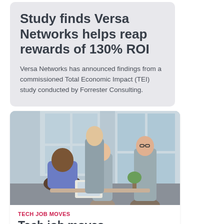Study finds Versa Networks helps reap rewards of 130% ROI
Versa Networks has announced findings from a commissioned Total Economic Impact (TEI) study conducted by Forrester Consulting.
[Figure (photo): Office meeting photo showing four professionals in conversation near large windows]
TECH JOB MOVES
Tech job moves